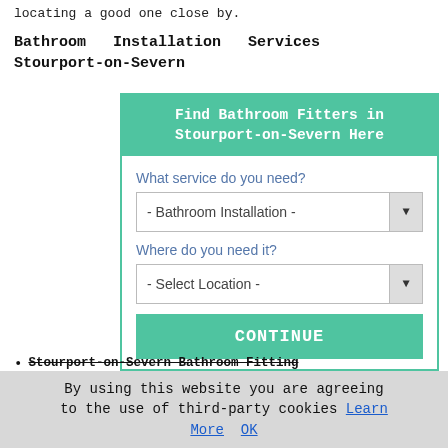locating a good one close by.
Bathroom Installation Services Stourport-on-Severn
[Figure (screenshot): A web widget for finding bathroom fitters in Stourport-on-Severn. Contains a green header 'Find Bathroom Fitters in Stourport-on-Severn Here', a dropdown for service (- Bathroom Installation -), a dropdown for location (- Select Location -), and a green CONTINUE button.]
Stourport-on-Severn Bathroom Fitting
Stourport-on-Severn Shower Cubicle Installations
By using this website you are agreeing to the use of third-party cookies Learn More OK